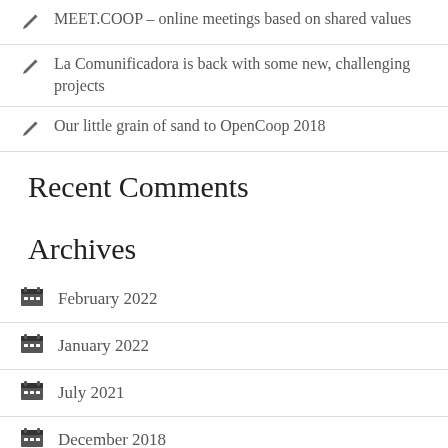MEET.COOP – online meetings based on shared values
La Comunificadora is back with some new, challenging projects
Our little grain of sand to OpenCoop 2018
Recent Comments
Archives
February 2022
January 2022
July 2021
December 2018
August 2018
June 2018